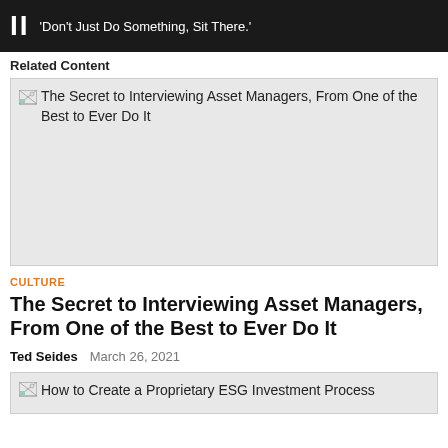II 'Don't Just Do Something, Sit There.'
Related Content
[Figure (photo): Broken image placeholder for article: The Secret to Interviewing Asset Managers, From One of the Best to Ever Do It]
CULTURE
The Secret to Interviewing Asset Managers, From One of the Best to Ever Do It
Ted Seides   March 26, 2021
[Figure (photo): Broken image placeholder for article: How to Create a Proprietary ESG Investment Process]